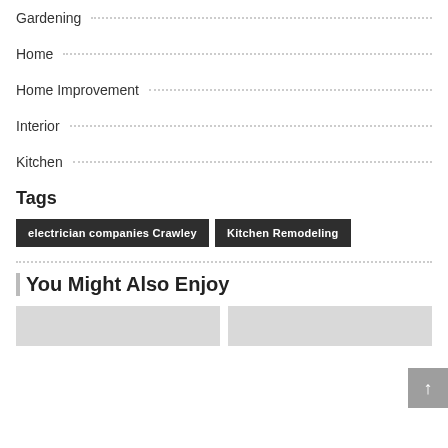Gardening
Home
Home Improvement
Interior
Kitchen
Tags
electrician companies Crawley
Kitchen Remodeling
You Might Also Enjoy